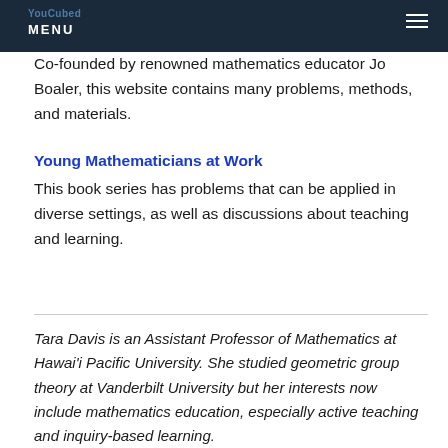YouCubed MENU
Co-founded by renowned mathematics educator Jo Boaler, this website contains many problems, methods, and materials.
Young Mathematicians at Work
This book series has problems that can be applied in diverse settings, as well as discussions about teaching and learning.
Tara Davis is an Assistant Professor of Mathematics at Hawai'i Pacific University. She studied geometric group theory at Vanderbilt University but her interests now include mathematics education, especially active teaching and inquiry-based learning.